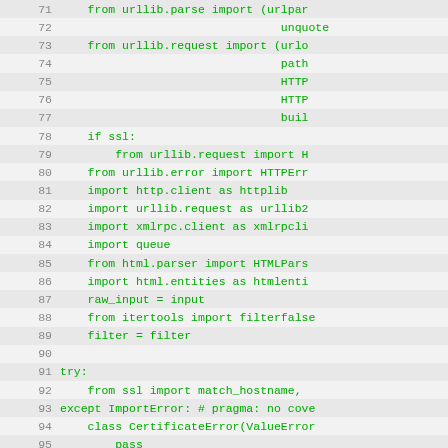[Figure (screenshot): Source code viewer showing Python code lines 71-102 with green monospace text on alternating light grey background rows, with line numbers on the left.]